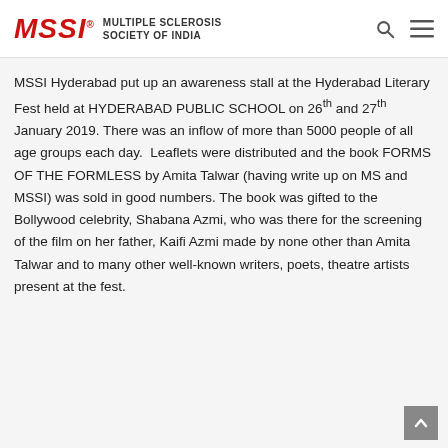MSSI Multiple Sclerosis Society of India
MSSI Hyderabad put up an awareness stall at the Hyderabad Literary Fest held at HYDERABAD PUBLIC SCHOOL on 26th and 27th January 2019. There was an inflow of more than 5000 people of all age groups each day. Leaflets were distributed and the book FORMS OF THE FORMLESS by Amita Talwar (having write up on MS and MSSI) was sold in good numbers. The book was gifted to the Bollywood celebrity, Shabana Azmi, who was there for the screening of the film on her father, Kaifi Azmi made by none other than Amita Talwar and to many other well-known writers, poets, theatre artists present at the fest.